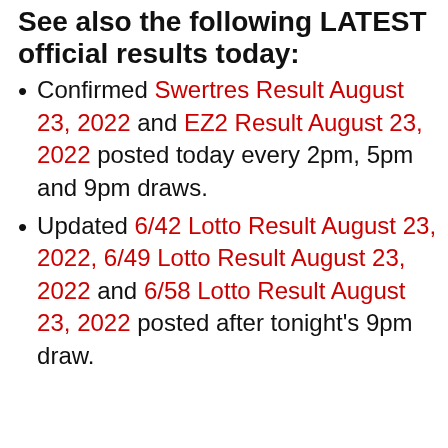See also the following LATEST official results today:
Confirmed Swertres Result August 23, 2022 and EZ2 Result August 23, 2022 posted today every 2pm, 5pm and 9pm draws.
Updated 6/42 Lotto Result August 23, 2022, 6/49 Lotto Result August 23, 2022 and 6/58 Lotto Result August 23, 2022 posted after tonight's 9pm draw.